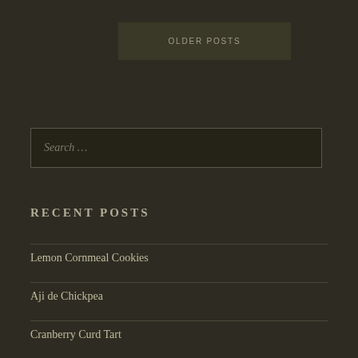OLDER POSTS
Search …
RECENT POSTS
Lemon Cornmeal Cookies
Aji de Chickpea
Cranberry Curd Tart